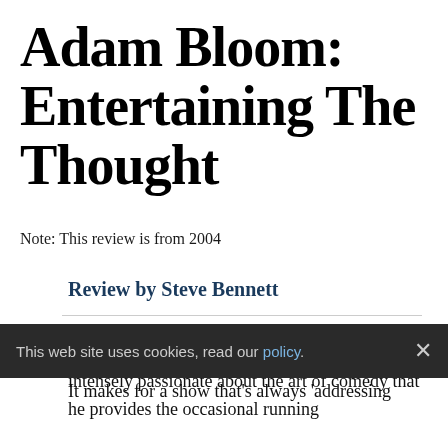Adam Bloom: Entertaining The Thought
Note: This review is from 2004
Review by Steve Bennett
Adam Bloom is one of those stand-ups so intensely passionate about the art of comedy that he provides the occasional running
This web site uses cookies, read our policy.
It makes for a show that's always 'addressing